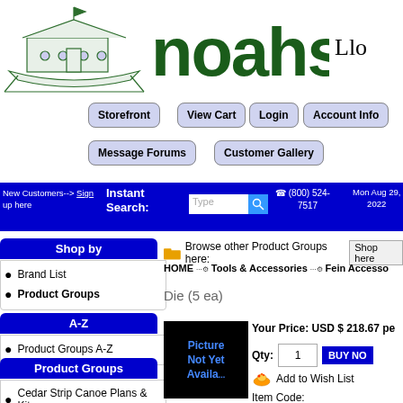[Figure (illustration): Line drawing of a wooden boat/ark on a stand]
[Figure (logo): Noahs brand logo in dark green text]
Llo
Storefront
View Cart
Login
Account Info
Message Forums
Customer Gallery
New Customers--> Sign up here | Instant Search: | (800) 524-7517 | Mon Aug 29, 2022
Shop by
Brand List
Product Groups
A-Z
Product Groups A-Z
Product Groups
Cedar Strip Canoe Plans & Kits
Browse other Product Groups here: Shop here
HOME ···❊ Tools & Accessories ···❊ Fein Accesso
Die (5 ea)
Your Price: USD $ 218.67 pe
Qty: 1  BUY NO
Add to Wish List
Item Code:
[Figure (photo): Product image placeholder: Picture Not Yet Available on black background]